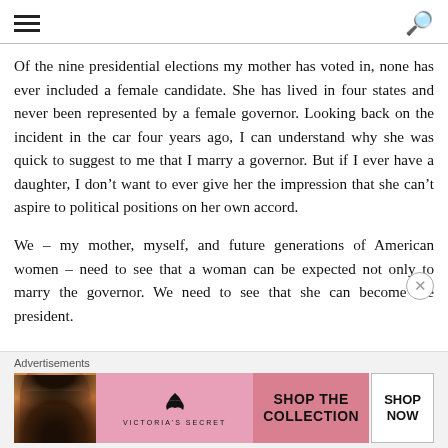≡  🔍
Of the nine presidential elections my mother has voted in, none has ever included a female candidate. She has lived in four states and never been represented by a female governor. Looking back on the incident in the car four years ago, I can understand why she was quick to suggest to me that I marry a governor. But if I ever have a daughter, I don't want to ever give her the impression that she can't aspire to political positions on her own accord.
We – my mother, myself, and future generations of American women – need to see that a woman can be expected not only to marry the governor. We need to see that she can become the president.
[Figure (screenshot): Victoria's Secret advertisement banner with a woman's photo, VS logo, 'SHOP THE COLLECTION' text, and 'SHOP NOW' button on a pink background.]